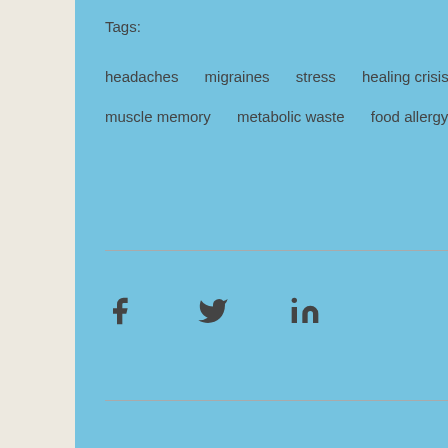Tags:
headaches   migraines   stress   healing crisis   latent trigger po...
muscle memory   metabolic waste   food allergy   nerve entrap...
[Figure (illustration): Social share icons: Facebook, Twitter, LinkedIn]